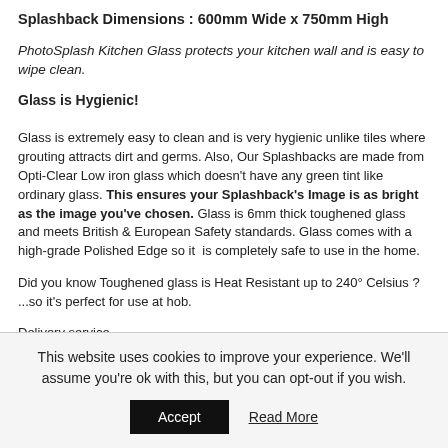Splashback Dimensions : 600mm Wide x 750mm High
PhotoSplash Kitchen Glass protects your kitchen wall and is easy to wipe clean.
Glass is Hygienic!
Glass is extremely easy to clean and is very hygienic unlike tiles where grouting attracts dirt and germs. Also, Our Splashbacks are made from Opti-Clear Low iron glass which doesn't have any green tint like ordinary glass. This ensures your Splashback's Image is as bright as the image you've chosen. Glass is 6mm thick toughened glass and meets British & European Safety standards. Glass comes with a high-grade Polished Edge so it is completely safe to use in the home.
Did you know Toughened glass is Heat Resistant up to 240° Celsius ? ...so it's perfect for use at hob.
Delivery service
This website uses cookies to improve your experience. We'll assume you're ok with this, but you can opt-out if you wish.